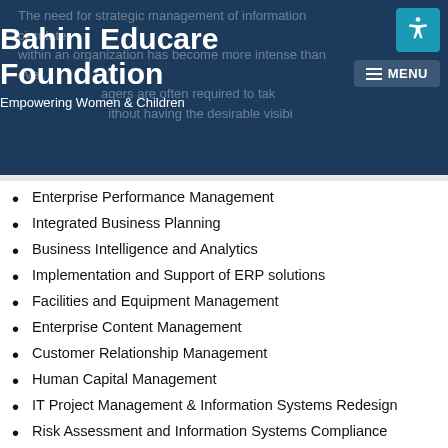Bahini Educare Foundation — Empowering Women & Children
Enterprise Performance Management
Integrated Business Planning
Business Intelligence and Analytics
Implementation and Support of ERP solutions
Facilities and Equipment Management
Enterprise Content Management
Customer Relationship Management
Human Capital Management
IT Project Management & Information Systems Redesign
Risk Assessment and Information Systems Compliance
Information Systems Security Services
User training / Seminars